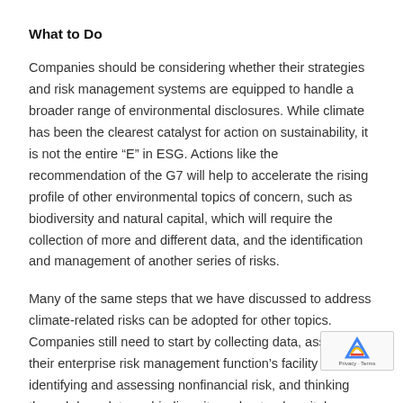What to Do
Companies should be considering whether their strategies and risk management systems are equipped to handle a broader range of environmental disclosures. While climate has been the clearest catalyst for action on sustainability, it is not the entire “E” in ESG. Actions like the recommendation of the G7 will help to accelerate the rising profile of other environmental topics of concern, such as biodiversity and natural capital, which will require the collection of more and different data, and the identification and management of another series of risks.
Many of the same steps that we have discussed to address climate-related risks can be adopted for other topics. Companies still need to start by collecting data, assessing their enterprise risk management function’s facility with identifying and assessing nonfinancial risk, and thinking through how data on biodiversity and natural capital intersects with their operations and risk...